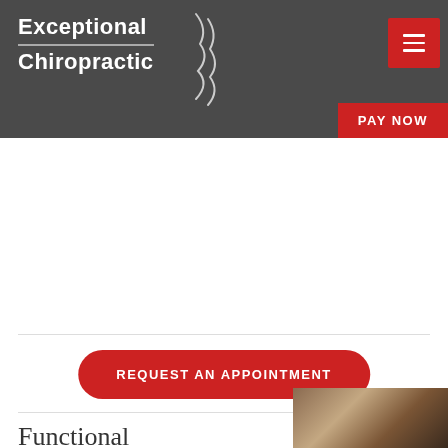[Figure (logo): Exceptional Chiropractic logo with spine graphic on dark gray header background]
REQUEST AN APPOINTMENT
Functional
[Figure (photo): Partial photo of a person at bottom right corner]